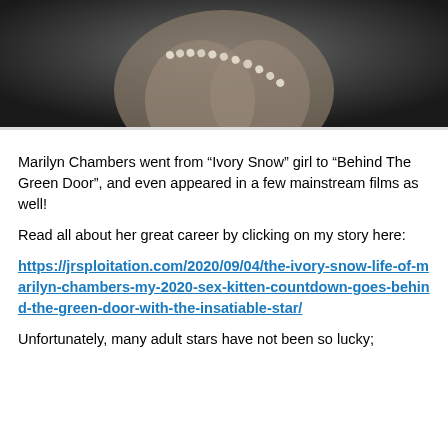[Figure (photo): Black and white photograph showing a close-up of a person's torso with a pearl necklace]
Marilyn Chambers went from “Ivory Snow” girl to “Behind The Green Door”, and even appeared in a few mainstream films as well!
Read all about her great career by clicking on my story here:
https://jrsploitation.com/2020/09/04/the-ivory-snow-life-of-marilyn-chambers-my-2020-sex-kitten-countdown-goes-behind-the-green-door-with-the-insatiable-star/
Unfortunately, many adult stars have not been so lucky;